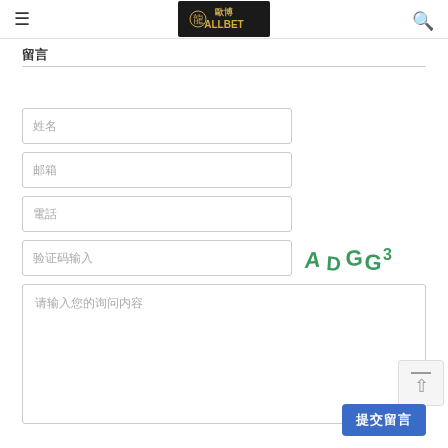欧博ALLBET
留言
姓名
邮箱
電話
验证码输入
[Figure (other): CAPTCHA image showing text ADGG3 in green handwritten style]
请输入您的询问内容
提交留言